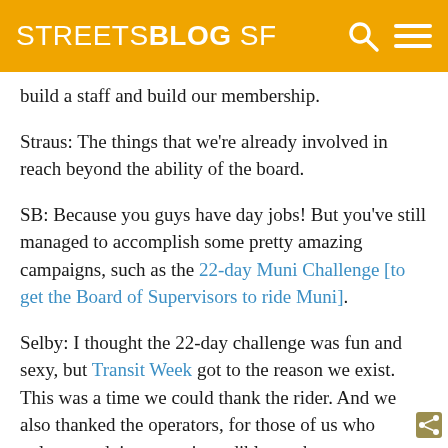STREETSBLOG SF
build a staff and build our membership.
Straus: The things that we’re already involved in reach beyond the ability of the board.
SB: Because you guys have day jobs! But you’ve still managed to accomplish some pretty amazing campaigns, such as the 22-day Muni Challenge [to get the Board of Supervisors to ride Muni].
Selby: I thought the 22-day challenge was fun and sexy, but Transit Week got to the reason we exist. This was a time we could thank the rider. And we also thanked the operators, for those of us who volunteered, it was an incredible week.